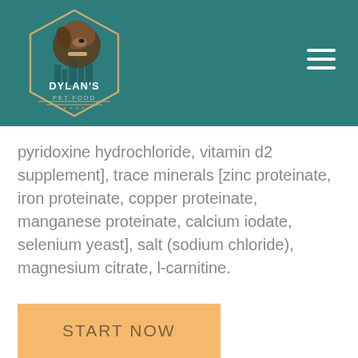[Figure (logo): Dylan's Pet Food logo with hexagon border containing a Labrador dog image and the text DYLAN'S PET FOOD]
pyridoxine hydrochloride, vitamin d2 supplement], trace minerals [zinc proteinate, iron proteinate, copper proteinate, manganese proteinate, calcium iodate, selenium yeast], salt (sodium chloride), magnesium citrate, l-carnitine.
START NOW